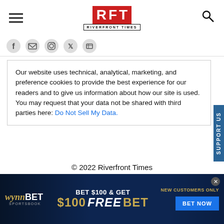RFT RIVERFRONT TIMES
[Figure (logo): RFT Riverfront Times logo — red square box with white letters R, F, T and subtitle RIVERFRONT TIMES below]
[Figure (illustration): Social media icons row: Facebook, email/newsletter, Instagram, Twitter/X, and another icon]
Our website uses technical, analytical, marketing, and preference cookies to provide the best experience for our readers and to give us information about how our site is used. You may request that your data not be shared with third parties here: Do Not Sell My Data.
© 2022 Riverfront Times
Powered by Foundation
[Figure (infographic): WynnBET Sportsbook advertisement: BET $100 & GET $100 FREE BET — NEW CUSTOMERS ONLY — BET NOW button on dark blue background]